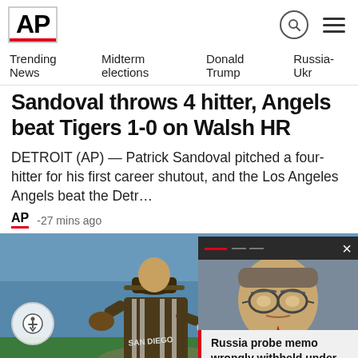AP
Trending News  Midterm elections  Donald Trump  Russia-Ukr
Sandoval throws 4 hitter, Angels beat Tigers 1-0 on Walsh HR
DETROIT (AP) — Patrick Sandoval pitched a four-hitter for his first career shutout, and the Los Angeles Angels beat the Detr…
-27 mins ago
[Figure (photo): Baseball pitcher in San Diego Padres uniform on the mound. Overlay card in bottom right showing a man with glasses (William Barr) with headline about Russia probe memo.]
Russia probe memo wrongly withheld under Barr, court ...